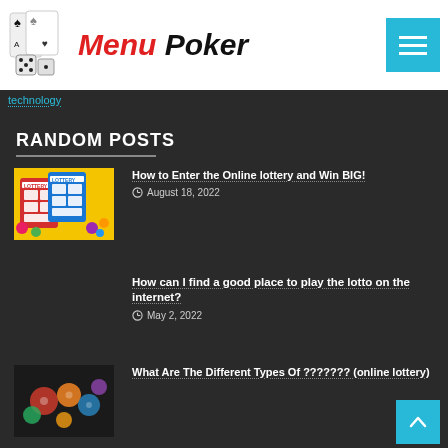Menu Poker
technology
RANDOM POSTS
[Figure (illustration): Lottery cards on yellow background with colorful balls]
How to Enter the Online lottery and Win BIG!
August 18, 2022
How can I find a good place to play the lotto on the internet?
May 2, 2022
[Figure (photo): Lottery balls in dark background]
What Are The Different Types Of ??????? (online lottery)